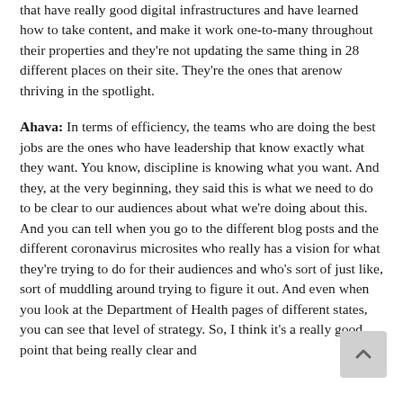that have really good digital infrastructures and have learned how to take content, and make it work one-to-many throughout their properties and they're not updating the same thing in 28 different places on their site. They're the ones that arenow thriving in the spotlight.
Ahava: In terms of efficiency, the teams who are doing the best jobs are the ones who have leadership that know exactly what they want. You know, discipline is knowing what you want. And they, at the very beginning, they said this is what we need to do to be clear to our audiences about what we're doing about this. And you can tell when you go to the different blog posts and the different coronavirus microsites who really has a vision for what they're trying to do for their audiences and who's sort of just like, sort of muddling around trying to figure it out. And even when you look at the Department of Health pages of different states, you can see that level of strategy. So, I think it's a really good point that being really clear and